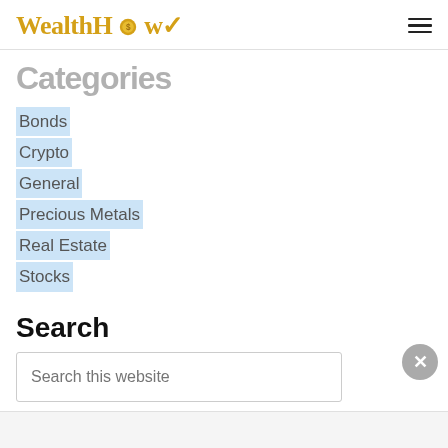WealthHow
Categories (partial)
Bonds
Crypto
General
Precious Metals
Real Estate
Stocks
Search
Search this website